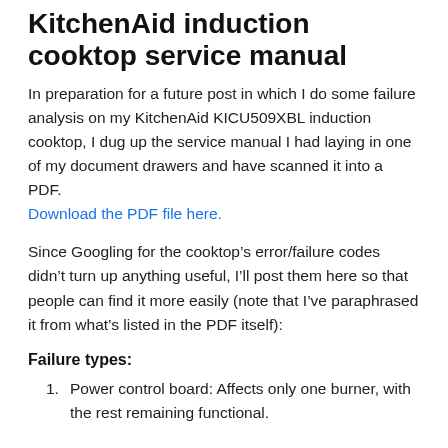KitchenAid induction cooktop service manual
In preparation for a future post in which I do some failure analysis on my KitchenAid KICU509XBL induction cooktop, I dug up the service manual I had laying in one of my document drawers and have scanned it into a PDF. Download the PDF file here.
Since Googling for the cooktop’s error/failure codes didn’t turn up anything useful, I’ll post them here so that people can find it more easily (note that I’ve paraphrased it from what’s listed in the PDF itself):
Failure types:
Power control board: Affects only one burner, with the rest remaining functional.